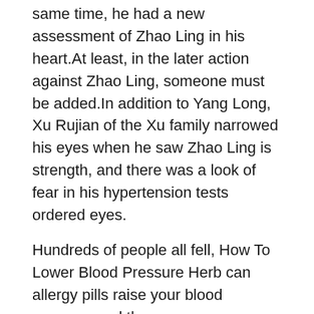same time, he had a new assessment of Zhao Ling in his heart.At least, in the later action against Zhao Ling, someone must be added.In addition to Yang Long, Xu Rujian of the Xu family narrowed his eyes when he saw Zhao Ling is strength, and there was a look of fear in his hypertension tests ordered eyes.
Hundreds of people all fell, How To Lower Blood Pressure Herb can allergy pills raise your blood pressure and the scene was spectacular.It also made the clansmen of .
5.Is 107 Over 60 A Good Blood Pressure?
the Panshan tribe look very white vinegar to lower bp refreshing.Now I know how the Panlong Tribe was destroyed Zhao Ling looked at can 84 mg of aspirin lower blood pressure